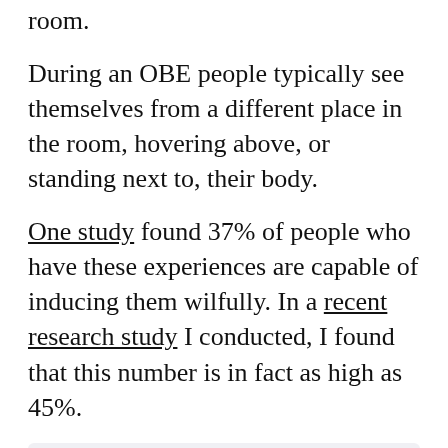room.
During an OBE people typically see themselves from a different place in the room, hovering above, or standing next to, their body.
One study found 37% of people who have these experiences are capable of inducing them wilfully. In a recent research study I conducted, I found that this number is in fact as high as 45%.
Analysis of the world, from experts
Get our newsletter
Meditation, visualisation and guided relaxation techniques have been related to induced OBEs. Such factors could account for some individuals